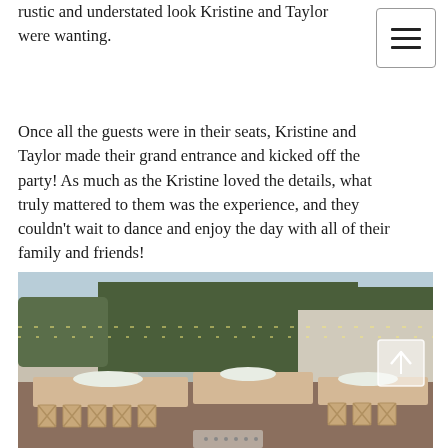rustic and understated look Kristine and Taylor were wanting.
Once all the guests were in their seats, Kristine and Taylor made their grand entrance and kicked off the party! As much as the Kristine loved the details, what truly mattered to them was the experience, and they couldn't wait to dance and enjoy the day with all of their family and friends!
[Figure (photo): Outdoor wedding reception setup with long wooden tables set with white floral arrangements and glassware, wooden cross-back chairs, string lights overhead, lush green trees and a white building in the background, warm daytime ambiance.]